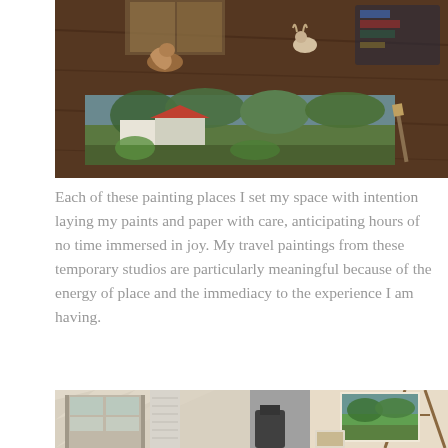[Figure (photo): Photo of an artist's worktable with a colorful landscape painting laid flat on a dark wooden surface. Small sculptural objects and art supplies are visible around the painting.]
Each of these painting places I set my space with intention laying my paints and paper with care, anticipating hours of no time immersed in joy. My travel paintings from these temporary studios are particularly meaningful because of the energy of place and the immediacy to the experience I am having.
[Figure (photo): Photo of an interior studio space with natural light, showing a door with glass panes, white shutters, and an easel on the right holding a colorful painting.]